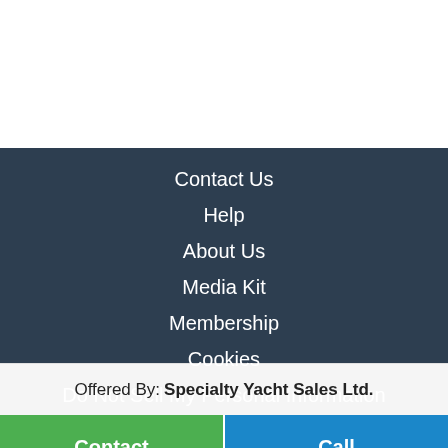Contact Us
Help
About Us
Media Kit
Membership
Cookies
Do Not Sell My Personal Information
[Figure (other): Row of four social media icon buttons (email, Instagram, Facebook, Twitter) on dark background]
Offered By: Specialty Yacht Sales Ltd.
Contact
Call